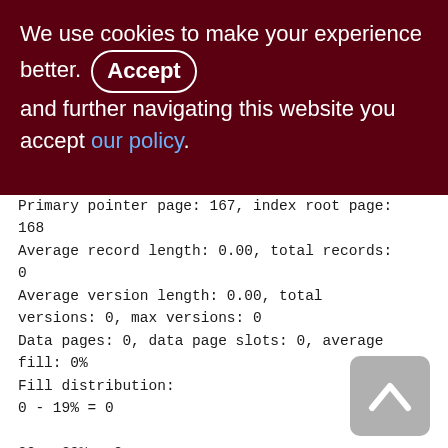We use cookies to make your experience better. By accepting and further navigating this website you accept our policy.
Primary pointer page: 167, index root page: 168
Average record length: 0.00, total records: 0
Average version length: 0.00, total versions: 0, max versions: 0
Data pages: 0, data page slots: 0, average fill: 0%
Fill distribution:
0 - 19% = 0
20 - 39% = 0
40 - 59% = 0
60 - 79% = 0